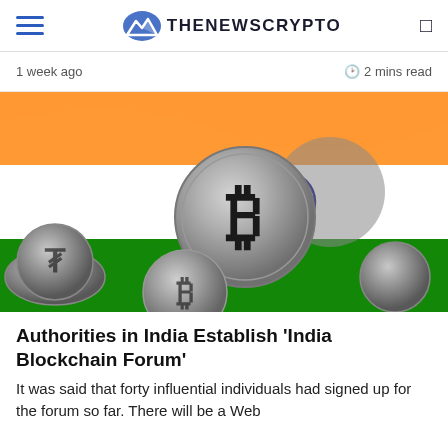THENEWSCRYPTO
1 week ago  🕐 2 mins read
[Figure (photo): Bitcoin cryptocurrency coins placed on Indian national flag background (saffron, white, green stripes with Ashoka Chakra)]
Authorities in India Establish 'India Blockchain Forum'
It was said that forty influential individuals had signed up for the forum so far. There will be a Web